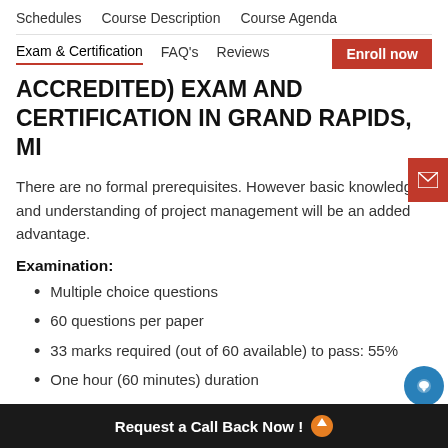Schedules   Course Description   Course Agenda
Exam & Certification   FAQ's   Reviews   Enroll now
ACCREDITED) EXAM AND CERTIFICATION IN GRAND RAPIDS, MI
There are no formal prerequisites. However basic knowledge and understanding of project management will be an added advantage.
Examination:
Multiple choice questions
60 questions per paper
33 marks required (out of 60 available) to pass: 55%
One hour (60 minutes) duration
Closed book
Request a Call Back Now !